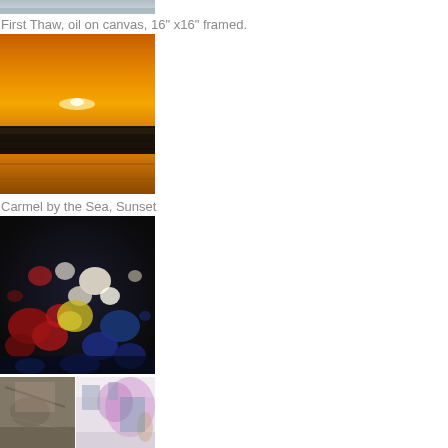[Figure (photo): Partial view of a painting or photo at top, cropped — appears to be a snowy or wintry landscape scene, only bottom portion visible]
First Thaw, oil on canvas, 16" x16" framed.
[Figure (photo): Sunset over ocean at Carmel by the Sea — warm orange and golden sky with the sun low on the horizon, dark ocean waves in the foreground]
Carmel by the Sea, Sunset
[Figure (photo): Colorful floral painting or photograph — vibrant arrangement of red roses, white flowers, and blue tones against a dark background]
[Figure (photo): Two smaller images side by side at bottom — left shows an abstract or textured artwork in muted colors; right shows an interior gallery or exhibition space with purple/pink lighting and artwork on display]